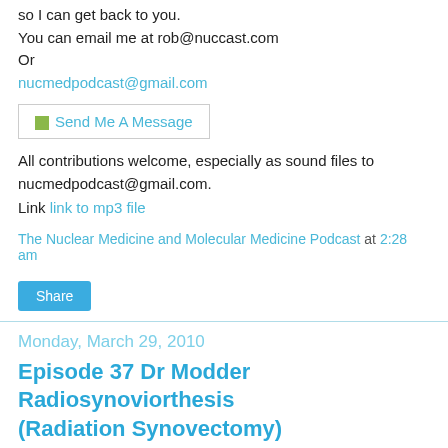so I can get back to you.
You can email me at rob@nuccast.com
Or
nucmedpodcast@gmail.com
[Figure (other): Send Me A Message button/widget]
All contributions welcome, especially as sound files to nucmedpodcast@gmail.com.
Link link to mp3 file
The Nuclear Medicine and Molecular Medicine Podcast at 2:28 am
Share
Monday, March 29, 2010
Episode 37 Dr Modder Radiosynoviorthesis (Radiation Synovectomy)
Episode 37 Dr Modder Radiosynoviorthesis (Radiation Synovectomy)